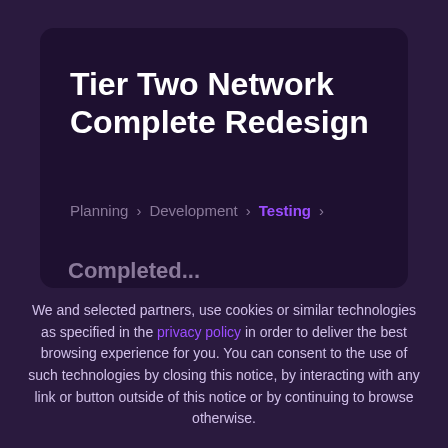Tier Two Network Complete Redesign
Planning > Development > Testing >
We and selected partners, use cookies or similar technologies as specified in the privacy policy in order to deliver the best browsing experience for you. You can consent to the use of such technologies by closing this notice, by interacting with any link or button outside of this notice or by continuing to browse otherwise.
ACCEPT COOKIES